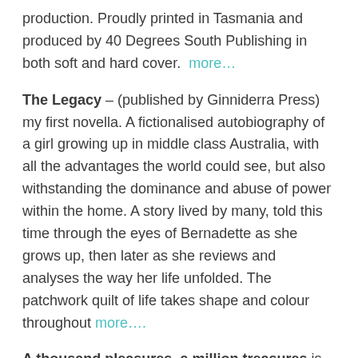production. Proudly printed in Tasmania and produced by 40 Degrees South Publishing in both soft and hard cover.  more…
The Legacy – (published by Ginniderra Press) my first novella. A fictionalised autobiography of a girl growing up in middle class Australia, with all the advantages the world could see, but also withstanding the dominance and abuse of power within the home. A story lived by many, told this time through the eyes of Bernadette as she grows up, then later as she reviews and analyses the way her life unfolded. The patchwork quilt of life takes shape and colour throughout more….
A thousand pleasures, a million treasures is the response evoked by exploring our local coastline. The book is intended as an accessible family text